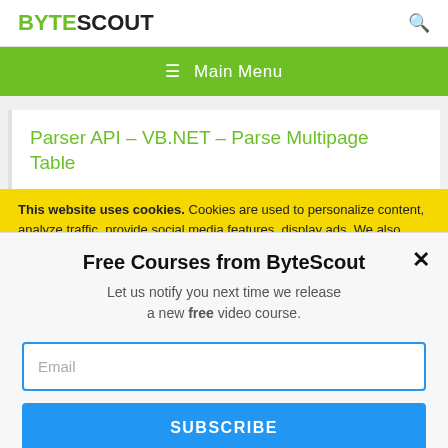BYTESCOUT
≡ Main Menu
Parser API – VB.NET – Parse Multipage Table
This website uses cookies. Cookies are used to personalize content, analyze traffic, provide social media features, display ads. We also share
Free Courses from ByteScout
Let us notify you next time we release a new free video course.
Email
SUBSCRIBE